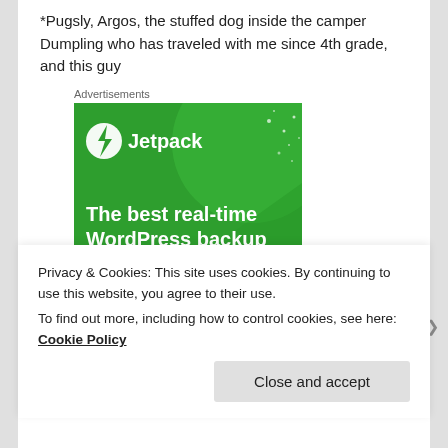*Pugsly, Argos, the stuffed dog inside the camper Dumpling who has traveled with me since 4th grade, and this guy
Advertisements
[Figure (screenshot): Jetpack advertisement banner showing 'The best real-time WordPress backup plugin' on a green background with the Jetpack logo (lightning bolt in circle) and white text.]
Privacy & Cookies: This site uses cookies. By continuing to use this website, you agree to their use.
To find out more, including how to control cookies, see here: Cookie Policy
Close and accept